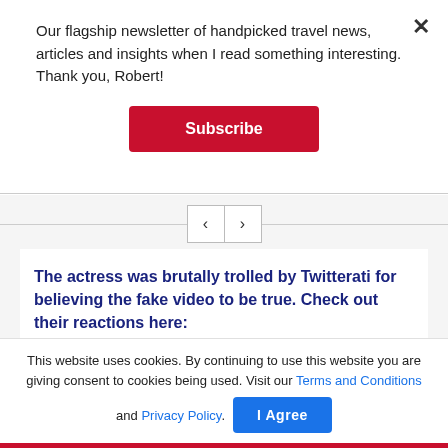Our flagship newsletter of handpicked travel news, articles and insights when I read something interesting. Thank you, Robert!
Subscribe
[Figure (screenshot): Navigation arrows left and right with horizontal divider lines on each side]
The actress was brutally trolled by Twitterati for believing the fake video to be true. Check out their reactions here:
(To receive our E-paper on whatsapp daily, please...
This website uses cookies. By continuing to use this website you are giving consent to cookies being used. Visit our Terms and Conditions and Privacy Policy.
I Agree